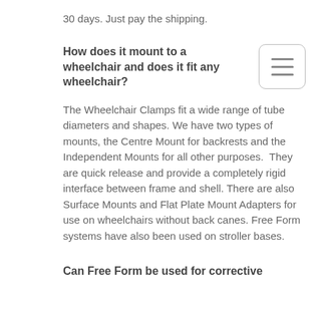30 days. Just pay the shipping.
How does it mount to a wheelchair and does it fit any wheelchair?
The Wheelchair Clamps fit a wide range of tube diameters and shapes. We have two types of mounts, the Centre Mount for backrests and the Independent Mounts for all other purposes.  They are quick release and provide a completely rigid interface between frame and shell. There are also Surface Mounts and Flat Plate Mount Adapters for use on wheelchairs without back canes. Free Form systems have also been used on stroller bases.
Can Free Form be used for corrective